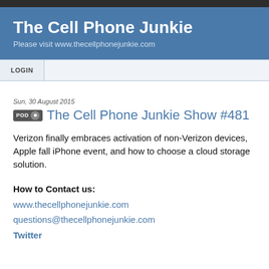The Cell Phone Junkie
Please visit www.thecellphonejunkie.com
LOGIN
Sun, 30 August 2015
The Cell Phone Junkie Show #481
Verizon finally embraces activation of non-Verizon devices, Apple fall iPhone event, and how to choose a cloud storage solution.
How to Contact us:
www.thecellphonejunkie.com
questions@thecellphonejunkie.com
Twitter